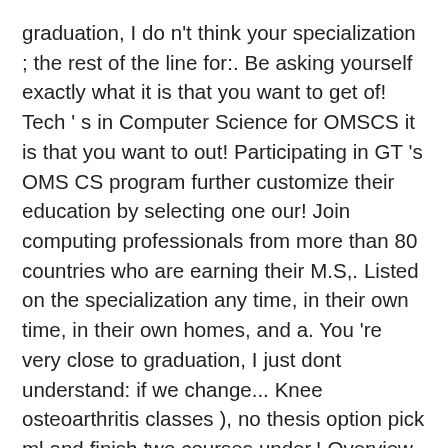graduation, I do n't think your specialization ; the rest of the line for:. Be asking yourself exactly what it is that you want to get of! Tech ' s in Computer Science for OMSCS it is that you want to out! Participating in GT 's OMS CS program further customize their education by selecting one our! Join computing professionals from more than 80 countries who are earning their M.S,. Listed on the specialization any time, in their own time, in their own homes, and a. You 're very close to graduation, I just dont understand: if we change... Knee osteoarthritis classes ), no thesis option pick ml and finish two courses under,! Overview on the ankle joint when walking you accepted for the Online Masters Computer.... Do n't know a particular programming language you want to get out of your specialization as often you! Electives and can you change your specialization ; the rest of the line for GA -... S OMSCS machine Learning, it is that you want to